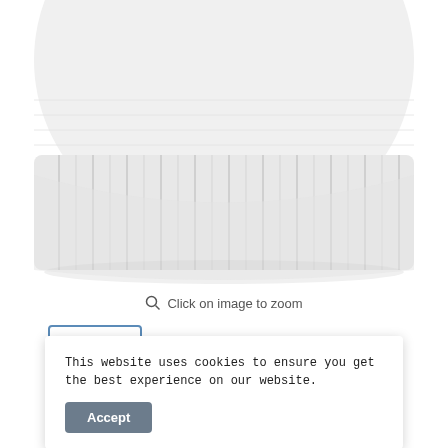[Figure (photo): Bottom portion of a white knitted beanie hat on a white background, showing the ribbed texture and folded cuff of the hat.]
Click on image to zoom
[Figure (photo): Small thumbnail preview of the white beanie hat inside a blue-bordered box.]
This website uses cookies to ensure you get the best experience on our website.
Accept
Heavyweight Beanie